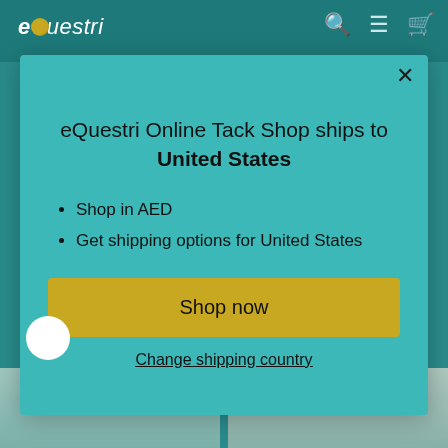eQuestri (logo navigation bar with search, menu, and cart icons)
[Figure (screenshot): Modal popup on eQuestri Online Tack Shop website with teal background, showing shipping information for United States]
eQuestri Online Tack Shop ships to United States
Shop in AED
Get shipping options for United States
Shop now
Change shipping country